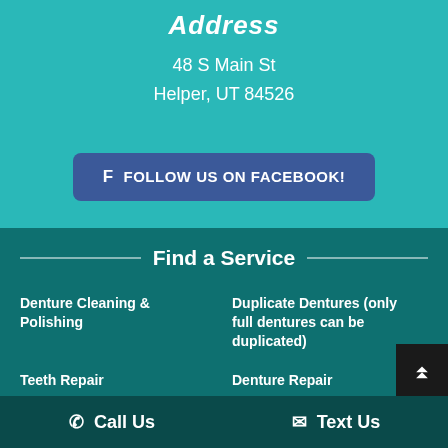Address
48 S Main St
Helper, UT 84526
f FOLLOW US ON FACEBOOK!
Find a Service
Denture Cleaning & Polishing
Duplicate Dentures (only full dentures can be duplicated)
Teeth Repair
Denture Repair
Partial Re...
Call Us
Text Us